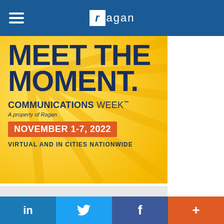Ragan
[Figure (illustration): Communications Week advertisement banner with yellow background, dark blue text reading MEET THE MOMENT., COMMUNICATIONS WEEK™ A property of Ragan, orange box with NOVEMBER 1-7, 2022, VIRTUAL AND IN CITIES NATIONWIDE]
[Figure (illustration): Ragan's Talent Hub advertisement with light gray background, gray geometric shapes, text: Ragan's TALENT HUB, Find Your Next...]
in  [twitter bird]  f  +